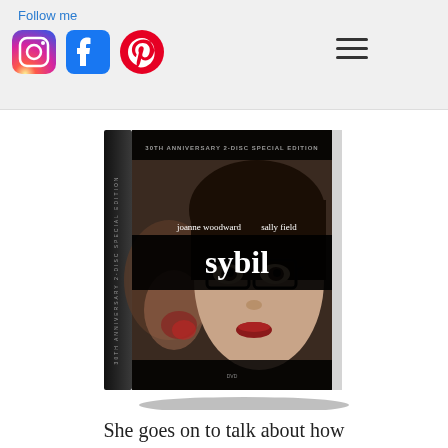Follow me
[Figure (screenshot): Social media icons: Instagram, Facebook, Pinterest, and a hamburger menu icon on a light gray header bar]
[Figure (photo): DVD cover of 'Sybil' - 30th Anniversary 2-Disc Special Edition, featuring joanne woodward and sally field. Close-up of a woman's face wearing glasses.]
She goes on to talk about how